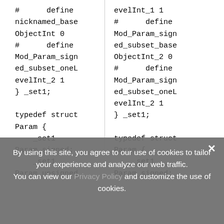#      define nicknamed_base ObjectInt 0 #      define Mod_Param_signed_subset_oneLevelInt_2 1 } _set1;

typedef struct Param {     _set1 Param_signed;     _set1 Param_unsigned
evelInt_1 1 #      define Mod_Param_signed_subset_base ObjectInt_2 0 #      define Mod_Param_signed_subset_oneLevelInt_2 1 } _set1;

typedef struct Param {     _set1 Param_signed;
By using this site, you agree to our use of cookies to tailor your experience and analyze our web traffic.
You can view our Privacy Policy and customize the use of cookies.